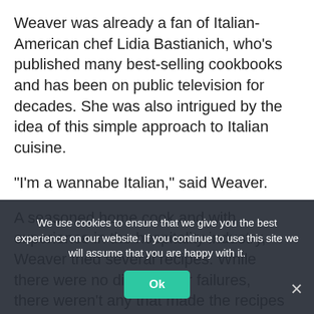Weaver was already a fan of Italian-American chef Lidia Bastianich, who’s published many best-selling cookbooks and has been on public television for decades. She was also intrigued by the idea of this simple approach to Italian cuisine.
“I’m a wannabe Italian,” said Weaver.
A seasoned home cook and with experience in the hospitality industry, Weaver tried several recipes. While there were no disasters or failures, there weren’t any that made the recipes … used beef short ribs. “I’ve used stewing beef and Beth bought pricier beef …
We use cookies to ensure that we give you the best experience on our website. If you continue to use this site we will assume that you are happy with it.